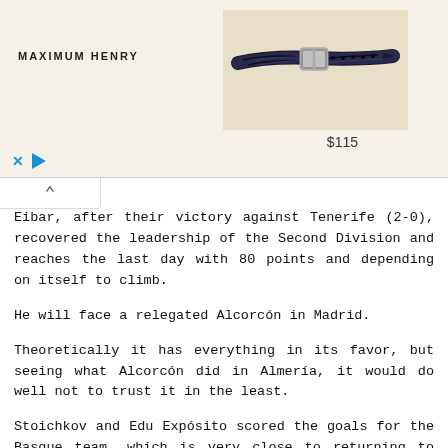[Figure (photo): Advertisement banner showing a dark navy braided leather belt with silver buckle on a beige background, with brand name MAXIMUM HENRY and price $115]
Eibar, after their victory against Tenerife (2-0), recovered the leadership of the Second Division and reaches the last day with 80 points and depending on itself to climb.
He will face a relegated Alcorcón in Madrid.
Theoretically it has everything in its favor, but seeing what Alcorcón did in Almería, it would do well not to trust it in the least.
Stoichkov and Edu Expósito scored the goals for the Basque team, which is very close to returning to the Second Division just one year after its relegation.